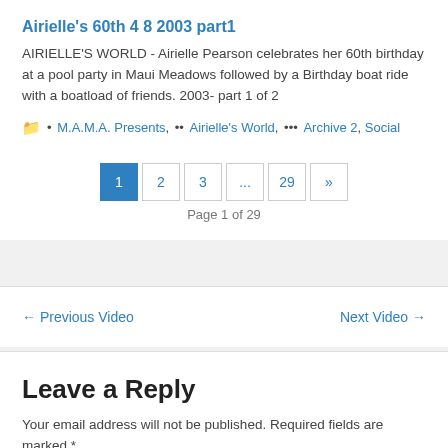Airielle's 60th 4 8 2003 part1
AIRIELLE'S WORLD - Airielle Pearson celebrates her 60th birthday at a pool party in Maui Meadows followed by a Birthday boat ride with a boatload of friends. 2003- part 1 of 2
• M.A.M.A. Presents, •• Airielle's World, ••• Archive 2, Social
1 2 3 ... 29 » Page 1 of 29
← Previous Video    Next Video →
Leave a Reply
Your email address will not be published. Required fields are marked *